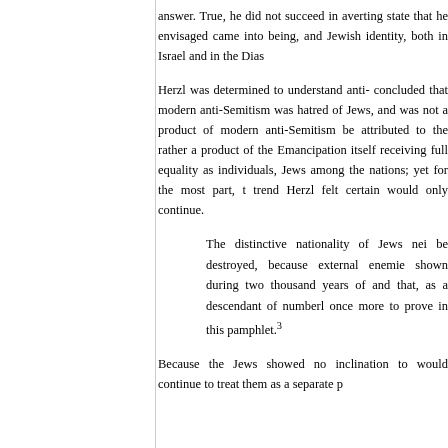answer. True, he did not succeed in averting state that he envisaged came into being, and Jewish identity, both in Israel and in the Dias
Herzl was determined to understand anti- concluded that modern anti-Semitism was hatred of Jews, and was not a product of modern anti-Semitism be attributed to the rather a product of the Emancipation itself receiving full equality as individuals, Jews among the nations; yet for the most part, t trend Herzl felt certain would only continue.
The distinctive nationality of Jews nei be destroyed, because external enemie shown during two thousand years of and that, as a descendant of numberl once more to prove in this pamphlet.³
Because the Jews showed no inclination to would continue to treat them as a separate p